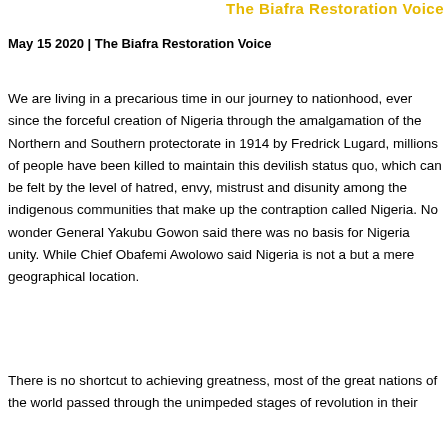The Biafra Restoration Voice
May 15 2020 | The Biafra Restoration Voice
We are living in a precarious time in our journey to nationhood, ever since the forceful creation of Nigeria through the amalgamation of the Northern and Southern protectorate in 1914 by Fredrick Lugard, millions of people have been killed to maintain this devilish status quo, which can be felt by the level of hatred, envy, mistrust and disunity among the indigenous communities that make up the contraption called Nigeria. No wonder General Yakubu Gowon said there was no basis for Nigeria unity. While Chief Obafemi Awolowo said Nigeria is not a but a mere geographical location.
There is no shortcut to achieving greatness, most of the great nations of the world passed through the unimpeded stages of revolution in their